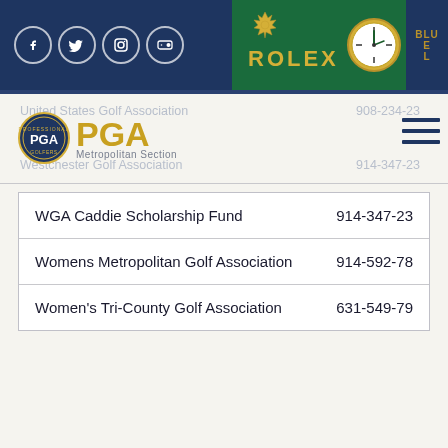[Figure (screenshot): Website header bar with dark navy background containing social media icons (Facebook, Twitter, Instagram, Flickr) on the left, a green Rolex advertisement banner in the center, and a partial blue banner on the right edge]
[Figure (logo): PGA Metropolitan Section logo with circular blue seal and gold PGA text]
United States Golf Association	908-234-23
Westchester Golf Association	914-347-23
| WGA Caddie Scholarship Fund | 914-347-23 |
| Womens Metropolitan Golf Association | 914-592-78 |
| Women's Tri-County Golf Association | 631-549-79 |